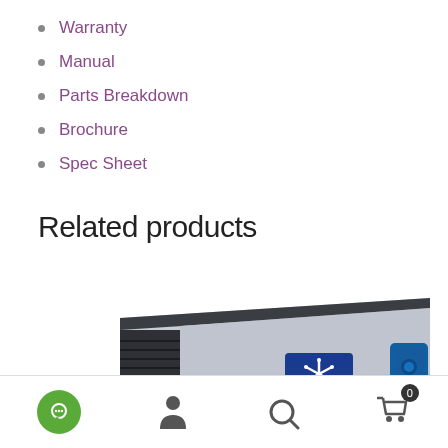Warranty
Manual
Parts Breakdown
Brochure
Spec Sheet
Related products
[Figure (photo): Commercial ice machine, stainless steel body with dark top panel, ventilation slats on left side, blue brand logo in center, blue digital display panel on right side.]